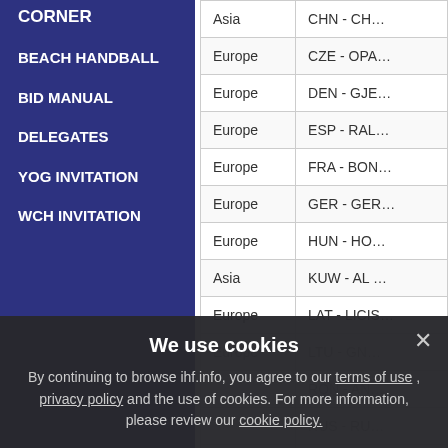CORNER
BEACH HANDBALL
BID MANUAL
DELEGATES
YOG INVITATION
WCH INVITATION
|  |  |
| --- | --- |
| Asia | CHN - CH... |
| Europe | CZE - OPA... |
| Europe | DEN - GJE... |
| Europe | ESP - RAL... |
| Europe | FRA - BON... |
| Europe | GER - GER... |
| Europe | HUN - HO... |
| Asia | KUW - AL ... |
| Europe | LAT - LICIS... |
| Europe | LTU - GN... |
|  | RON - AN... |
|  | RUS - RU... |
|  | SVK - SK... |
We use cookies

By continuing to browse ihf.info, you agree to our terms of use , privacy policy and the use of cookies. For more information, please review our cookie policy.